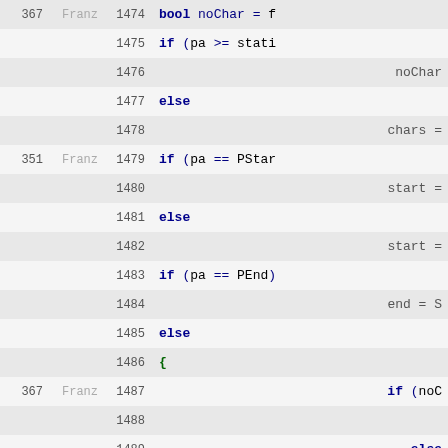| num | author | line | code |
| --- | --- | --- | --- |
| 367 | Franz | 1474 | bool noChar = f |
|  |  | 1475 | if (pa >= stati |
|  |  | 1476 | noChar |
|  |  | 1477 | else |
|  |  | 1478 | chars = |
| 351 | Franz | 1479 | if (pa == PStar |
|  |  | 1480 | start = |
|  |  | 1481 | else |
|  |  | 1482 | start = |
|  |  | 1483 | if (pa == PEnd) |
|  |  | 1484 | end = S |
|  |  | 1485 | else |
|  |  | 1486 | { |
| 367 | Franz | 1487 | if (noC |
|  |  | 1488 |  |
|  |  | 1489 | else |
|  |  | 1490 |  |
| 351 | Franz | 1491 | } |
| 367 | Franz | 1492 | if (!noChar) |
|  |  | 1493 | { |
|  |  | 1494 | for (i |